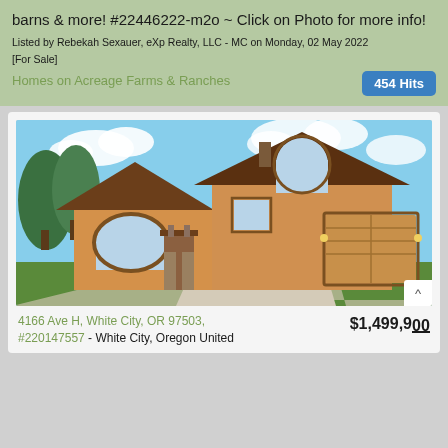barns & more! #22446222-m2o ~ Click on Photo for more info!
Listed by Rebekah Sexauer, eXp Realty, LLC - MC on Monday, 02 May 2022
[For Sale]
Homes on Acreage Farms & Ranches
454 Hits
[Figure (photo): Exterior photo of a large two-story tan/wood-sided house with brown roof, arched windows, two-car garage, stone porch pillars, green lawn, and blue sky with clouds. Circular driveway visible.]
4166 Ave H, White City, OR 97503, #220147557 - White City, Oregon United
$1,499,900